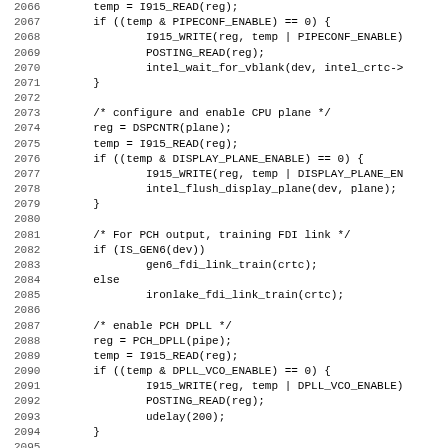[Figure (screenshot): Source code listing in monospace font showing C code for GPU display pipeline configuration, lines 2066-2098, including functions for enabling PIPECONF, CPU plane, FDI link training, and PCH DPLL.]